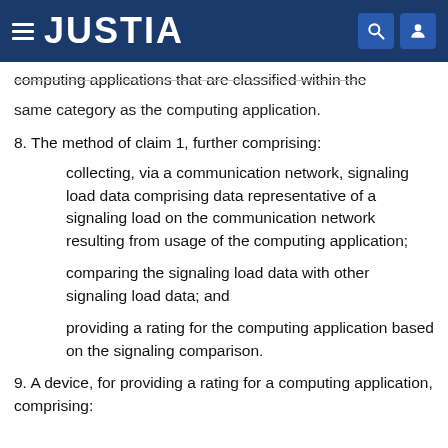JUSTIA
computing applications that are classified within the same category as the computing application.
8. The method of claim 1, further comprising:
collecting, via a communication network, signaling load data comprising data representative of a signaling load on the communication network resulting from usage of the computing application;
comparing the signaling load data with other signaling load data; and
providing a rating for the computing application based on the signaling comparison.
9. A device, for providing a rating for a computing application, comprising: